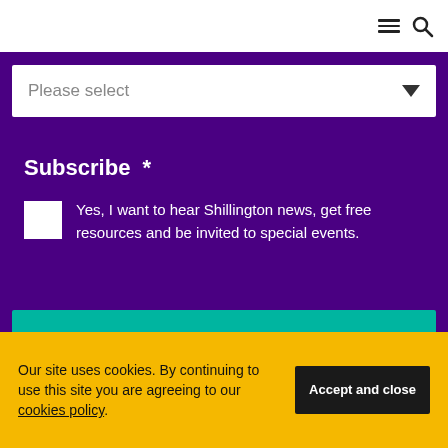Menu / Search navigation bar
Please select
Subscribe *
Yes, I want to hear Shillington news, get free resources and be invited to special events.
Submit
Our site uses cookies. By continuing to use this site you are agreeing to our cookies policy.
Accept and close